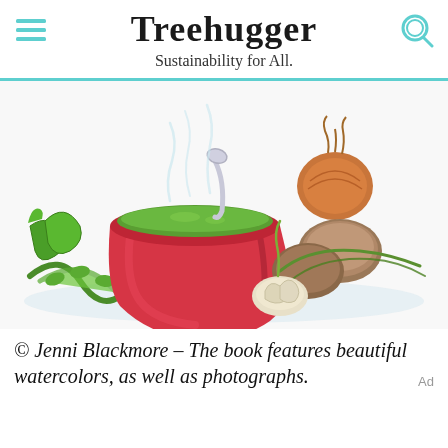Treehugger — Sustainability for All.
[Figure (illustration): Watercolor illustration of a red ceramic pot with steaming green soup and a spoon, surrounded by vegetables: an onion, mushrooms/potatoes, scallions, garlic, green chili peppers, and pea pods scattered on a light blue-white surface.]
© Jenni Blackmore – The book features beautiful watercolors, as well as photographs.